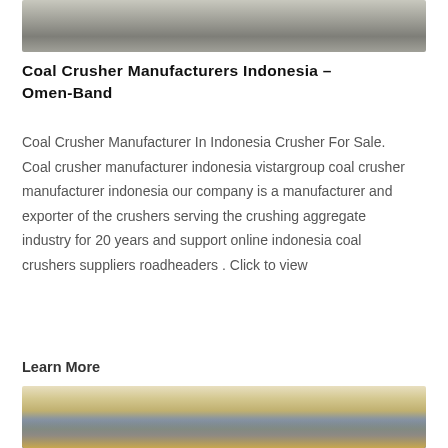[Figure (photo): Top portion of a photo showing a rough textured gray surface, likely crushed stone or aggregate material]
Coal Crusher Manufacturers Indonesia - Omen-Band
Coal Crusher Manufacturer In Indonesia Crusher For Sale. Coal crusher manufacturer indonesia vistargroup coal crusher manufacturer indonesia our company is a manufacturer and exporter of the crushers serving the crushing aggregate industry for 20 years and support online indonesia coal crushers suppliers roadheaders . Click to view
Learn More
[Figure (photo): Industrial mobile crusher machine in blue color with conveyor belts and chutes, operating at a construction or mining site with buildings visible in the background and sandy/gravel material at the base]